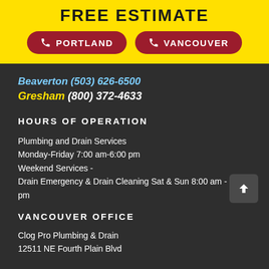FREE ESTIMATE
PORTLAND
VANCOUVER
Beaverton (503) 626-6500
Gresham (800) 372-4633
HOURS OF OPERATION
Plumbing and Drain Services
Monday-Friday 7:00 am-6:00 pm
Weekend Services -
Drain Emergency & Drain Cleaning Sat & Sun 8:00 am - 5:00 pm
VANCOUVER OFFICE
Clog Pro Plumbing & Drain
12511 NE Fourth Plain Blvd